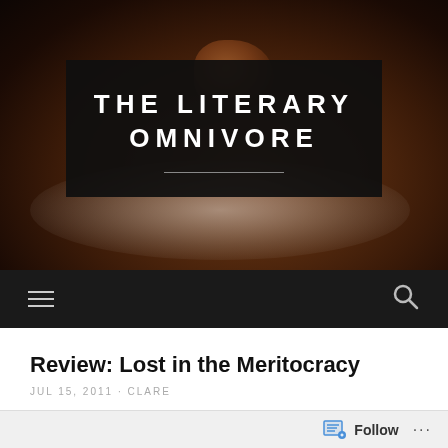[Figure (photo): Food photo background showing a dark plate with meat/food item, serving as the hero image for a blog website header]
THE LITERARY OMNIVORE
hamburger menu icon and search icon navigation bar
Review: Lost in the Meritocracy
JUL 15, 2011 · CLARE
Follow ...